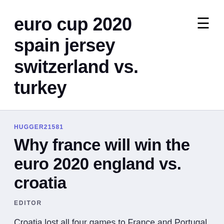euro cup 2020 spain jersey switzerland vs. turkey
HUGGER21581
Why france will win the euro 2020 england vs. croatia
EDITOR
Croatia lost all four games to France and Portugal - with all seein UEFA EURO 2020 Group Stage preview: